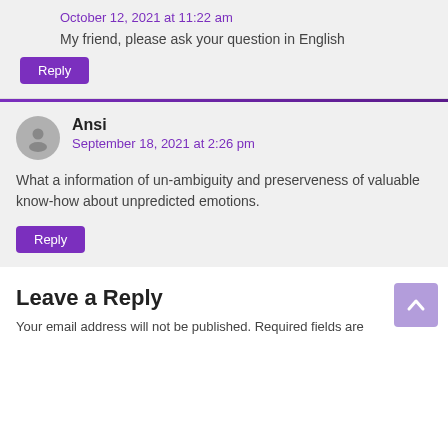October 12, 2021 at 11:22 am
My friend, please ask your question in English
Reply
Ansi
September 18, 2021 at 2:26 pm
What a information of un-ambiguity and preserveness of valuable know-how about unpredicted emotions.
Reply
Leave a Reply
Your email address will not be published. Required fields are